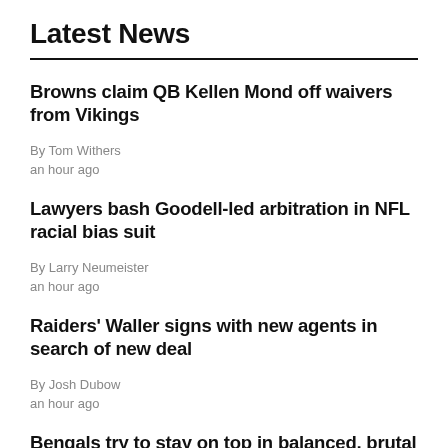Latest News
Browns claim QB Kellen Mond off waivers from Vikings
By Tom Withers
an hour ago
Lawyers bash Goodell-led arbitration in NFL racial bias suit
By Larry Neumeister
an hour ago
Raiders' Waller signs with new agents in search of new deal
By Josh Dubow
an hour ago
Bengals try to stay on top in balanced, brutal AFC North
By Tom With...